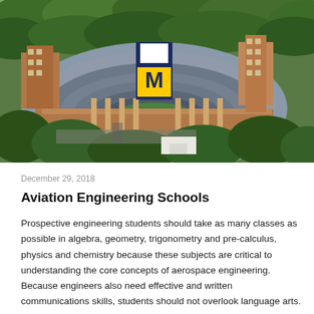[Figure (photo): Aerial photograph of University of Michigan's Michigan Stadium (The Big House) showing the large oval football stadium with the iconic yellow 'M' logo, surrounded by trees and campus buildings.]
December 29, 2018
Aviation Engineering Schools
Prospective engineering students should take as many classes as possible in algebra, geometry, trigonometry and pre-calculus, physics and chemistry because these subjects are critical to understanding the core concepts of aerospace engineering. Because engineers also need effective and written communications skills, students should not overlook language arts.